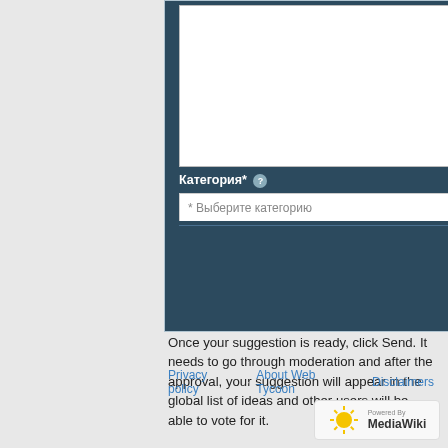[Figure (screenshot): A web form panel with a dark blue border area, a textarea input at top, a Категория* label with info icon, and a dropdown select box with placeholder text '* Выберите категорию']
Once your suggestion is ready, click Send. It needs to go through moderation and after the approval, your suggestion will appear in the global list of ideas and other users will be able to vote for it.
Privacy policy · About Web Tycoon · Disclaimers
[Figure (logo): Powered by MediaWiki badge with sunflower logo]